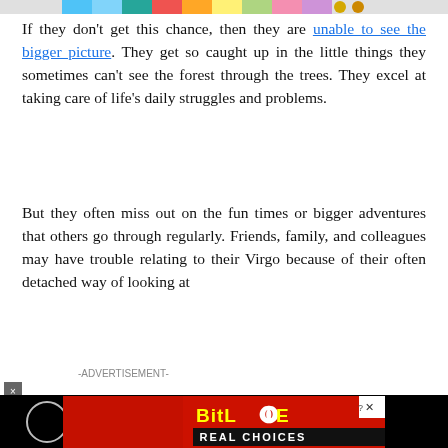[Figure (illustration): Colorful banner image strip at top with rainbow colors and circular icons on the right]
If they don't get this chance, then they are unable to see the bigger picture. They get so caught up in the little things they sometimes can't see the forest through the trees. They excel at taking care of life's daily struggles and problems.
But they often miss out on the fun times or bigger adventures that others go through regularly. Friends, family, and colleagues may have trouble relating to their Virgo because of their often detached way of looking at
-ADVERTISEMENT-
[Figure (screenshot): Video overlay on black background showing: How To Open 7 Chakras - Meditation and Healing - SunSigns.Org with a circle play button icon and a small gold dot]
[Figure (illustration): BitLife Real Choices advertisement banner with colorful emoji characters on red background]